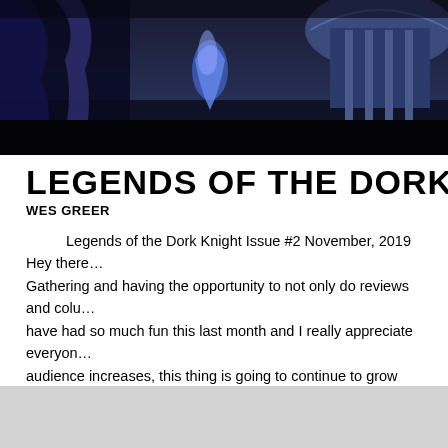[Figure (photo): Dark blue-tinted screenshot or game art showing armored/fantasy scene with metallic structures and a blue glowing figure.]
LEGENDS OF THE DORK KNIG…
WES GREER
Legends of the Dork Knight Issue #2 November, 2019   Hey there… Gathering and having the opportunity to not only do reviews and colu… have had so much fun this last month and I really appreciate everyon… audience increases, this thing is going to continue to grow and grow a…
« first  ‹ previous  …  4  5  6
[Figure (logo): Orange RSS feed icon]